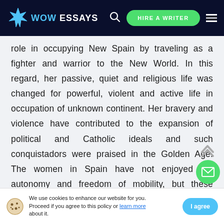WOW ESSAYS | HIRE A WRITER
role in occupying New Spain by traveling as a fighter and warrior to the New World. In this regard, her passive, quiet and religious life was changed for powerful, violent and active life in occupation of unknown continent. Her bravery and violence have contributed to the expansion of political and Catholic ideals and such conquistadors were praised in the Golden Age. The women in Spain have not enjoyed the autonomy and freedom of mobility, but these restrictions were one of the main Catalina
We use cookies to enhance our website for you. Proceed if you agree to this policy or learn more about it.